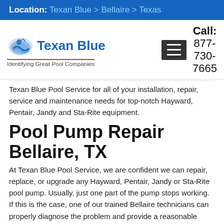Location: Texan Blue > Bellaire > Texas
[Figure (logo): Texan Blue logo with pool graphic and tagline 'Identifying Great Pool Companies']
Texan Blue Pool Service for all of your installation, repair, service and maintenance needs for top-notch Hayward, Pentair, Jandy and Sta-Rite equipment.
Pool Pump Repair Bellaire, TX
At Texan Blue Pool Service, we are confident we can repair, replace, or upgrade any Hayward, Pentair, Jandy or Sta-Rite pool pump. Usually, just one part of the pump stops working. If this is the case, one of our trained Bellaire technicians can properly diagnose the problem and provide a reasonable estimate to fix it. Some common problems